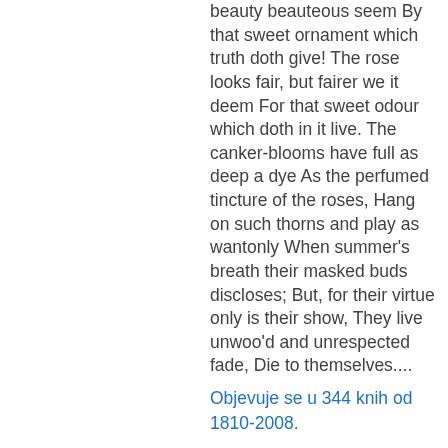beauty beauteous seem By that sweet ornament which truth doth give! The rose looks fair, but fairer we it deem For that sweet odour which doth in it live. The canker-blooms have full as deep a dye As the perfumed tincture of the roses, Hang on such thorns and play as wantonly When summer's breath their masked buds discloses; But, for their virtue only is their show, They live unwoo'd and unrespected fade, Die to themselves....
Objevuje se u 344 knih od 1810-2008.
Strana 24 - A strange f...